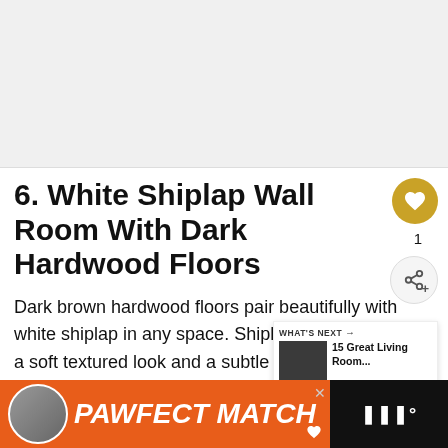[Figure (photo): Placeholder image area for a room photo]
6. White Shiplap Wall Room With Dark Hardwood Floors
Dark brown hardwood floors pair beautifully with white shiplap in any space. Shiplap walls give a soft textured look and a subtle accent to any room.
[Figure (photo): What's Next thumbnail - 15 Great Living Room...]
[Figure (other): PAWFECT MATCH advertisement banner with cat image]